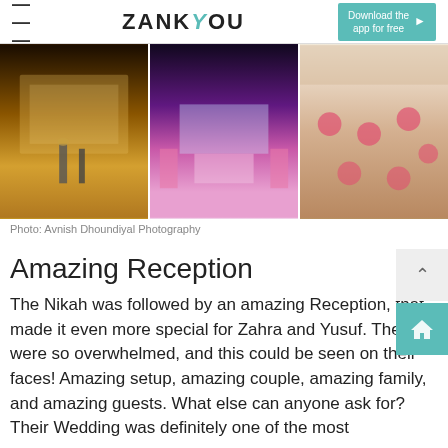ZANKYOU — Download the app for free
[Figure (photo): Three wedding venue photos side by side: left shows an ornate illuminated palace interior with guests, center shows a decorated stage with pink floral arrangements and a screen, right shows an aerial view of outdoor reception tables with pink decorations.]
Photo: Avnish Dhoundiyal Photography
Amazing Reception
The Nikah was followed by an amazing Reception, that made it even more special for Zahra and Yusuf. They were so overwhelmed, and this could be seen on their faces! Amazing setup, amazing couple, amazing family, and amazing guests. What else can anyone ask for? Their Wedding was definitely one of the most